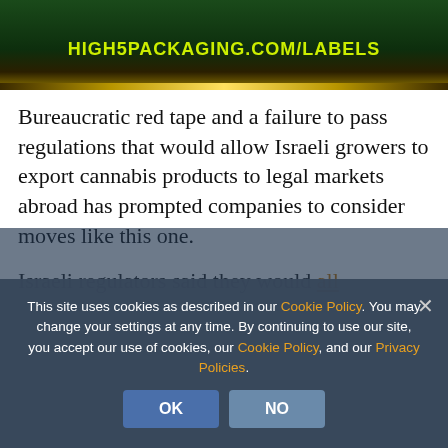[Figure (photo): Advertisement banner for High5Packaging.com/Labels with green and gold background]
Bureaucratic red tape and a failure to pass regulations that would allow Israeli growers to export cannabis products to legal markets abroad has prompted companies to consider moves like this one.
Israeli regulators said they would allow make huge investments in cultivation sites. But without export regulations, those growers could see their
This site uses cookies as described in our Cookie Policy. You may change your settings at any time. By continuing to use our site, you accept our use of cookies, our Cookie Policy, and our Privacy Policies.